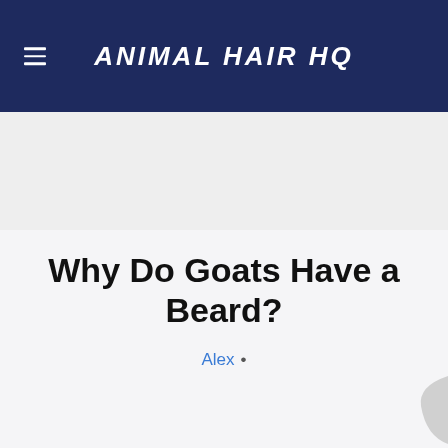ANIMAL HAIR HQ
Why Do Goats Have a Beard?
Alex •